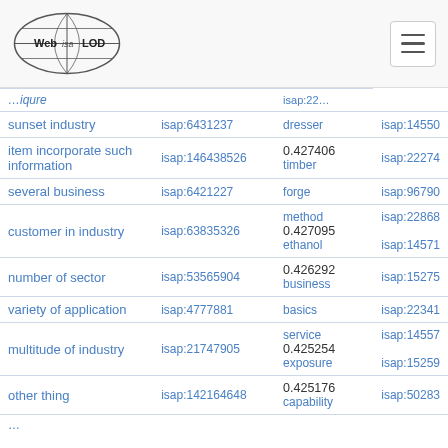Web isa LOD [logo] [hamburger menu]
| term | isap id | score / related term | isap id 2 |
| --- | --- | --- | --- |
| sunset industry | isap:6431237 | dresser | isap:14550 |
| item incorporate such information | isap:146438526 | 0.427406 timber | isap:22274 |
| several business | isap:6421227 | forge | isap:96790 |
| customer in industry | isap:63835326 | method 0.427095 ethanol | isap:14571 |
| number of sector | isap:53565904 | 0.426292 business | isap:15275 |
| variety of application | isap:4777881 | basics | isap:22341 |
| multitude of industry | isap:21747905 | service 0.425254 exposure | isap:14557 isap:15259 |
| other thing | isap:142164648 | 0.425176 capability | isap:50283 |